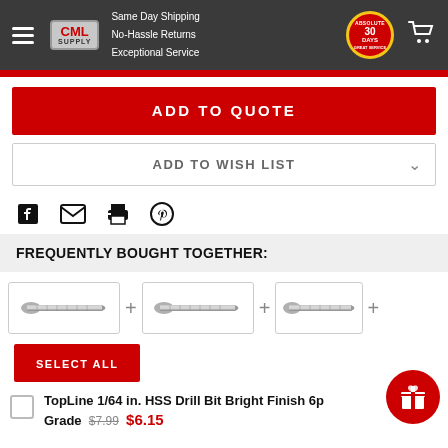CML Supply — Same Day Shipping, No-Hassle Returns, Exceptional Service, 30 Days
ADD TO QUOTE
ADD TO WISH LIST
[Figure (infographic): Social share icons: Facebook, Email, Print, Pinterest]
FREQUENTLY BOUGHT TOGETHER:
[Figure (photo): Three drill bit product images side by side with plus signs]
SELECT ALL
TopLine 1/64 in. HSS Drill Bit Bright Finish 6p Grade  $7.99  $6.15